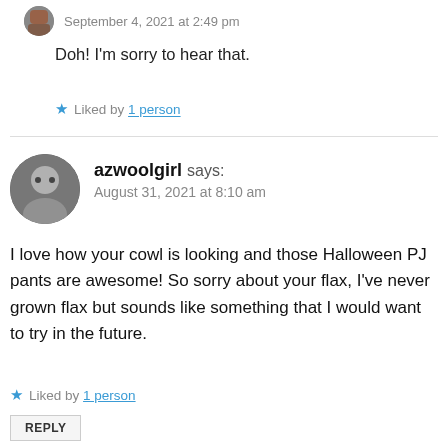September 4, 2021 at 2:49 pm
Doh! I'm sorry to hear that.
Liked by 1 person
azwoolgirl says: August 31, 2021 at 8:10 am
I love how your cowl is looking and those Halloween PJ pants are awesome! So sorry about your flax, I've never grown flax but sounds like something that I would want to try in the future.
Liked by 1 person
REPLY